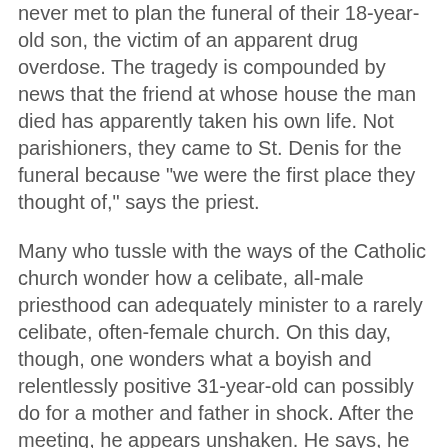never met to plan the funeral of their 18-year-old son, the victim of an apparent drug overdose. The tragedy is compounded by news that the friend at whose house the man died has apparently taken his own life. Not parishioners, they came to St. Denis for the funeral because "we were the first place they thought of," says the priest.
Many who tussle with the ways of the Catholic church wonder how a celibate, all-male priesthood can adequately minister to a rarely celibate, often-female church. On this day, though, one wonders what a boyish and relentlessly positive 31-year-old can possibly do for a mother and father in shock. After the meeting, he appears unshaken. He says, he considers it a "blessing" to be able to minister at funerals - even gut-wrenching ones like this. "This is what I was ordained for."
Being dismissed as "young," with its implication